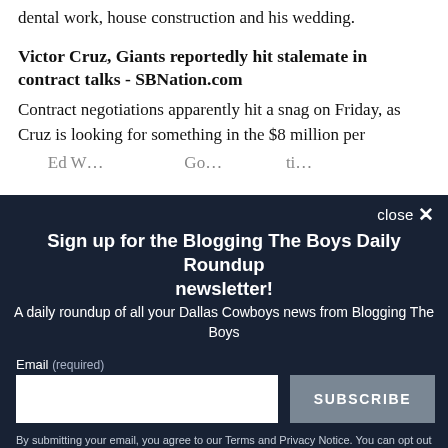dental work, house construction and his wedding.
Victor Cruz, Giants reportedly hit stalemate in contract talks - SBNation.com
Contract negotiations apparently hit a snag on Friday, as Cruz is looking for something in the $8 million per
close ×
Sign up for the Blogging The Boys Daily Roundup newsletter!
A daily roundup of all your Dallas Cowboys news from Blogging The Boys
Email (required)
SUBSCRIBE
By submitting your email, you agree to our Terms and Privacy Notice. You can opt out at any time. This site is protected by reCAPTCHA and the Google Privacy Policy and Terms of Service apply.